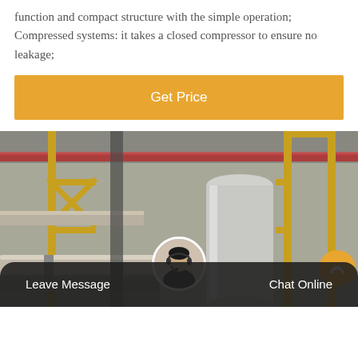function and compact structure with the simple operation; Compressed systems: it takes a closed compressor to ensure no leakage;
Get Price
[Figure (photo): Industrial piping and scaffolding system photo showing pipes, scaffolding with yellow metal supports, and a large white cylindrical column in an industrial facility.]
Leave Message
Chat Online